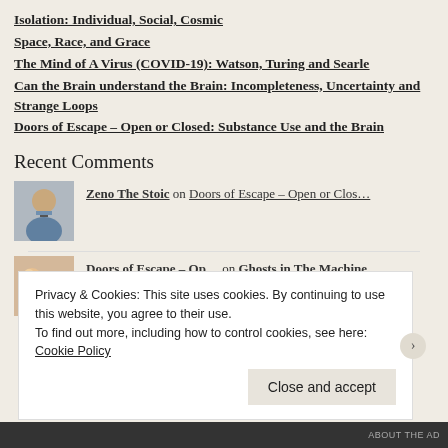Isolation: Individual, Social, Cosmic
Space, Race, and Grace
The Mind of A Virus (COVID-19): Watson, Turing and Searle
Can the Brain understand the Brain: Incompleteness, Uncertainty and Strange Loops
Doors of Escape – Open or Closed: Substance Use and the Brain
Recent Comments
Zeno The Stoic on Doors of Escape – Open or Clos…
Doors of Escape – Op… on Ghosts in The Machine
Privacy & Cookies: This site uses cookies. By continuing to use this website, you agree to their use. To find out more, including how to control cookies, see here: Cookie Policy
Close and accept